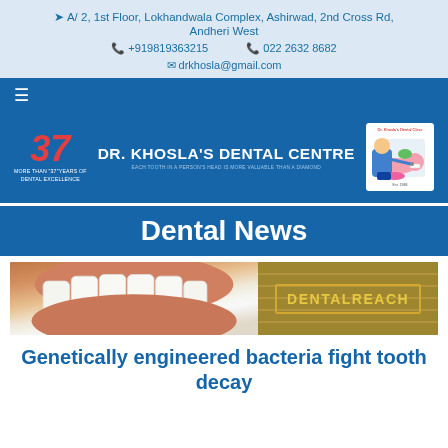A/ 2, 1st Floor, Lokhandwala Complex, Ashirwad, 2nd Cross Rd, Andheri West
+919819363215   022 2632 8682
drkhosla@gmail.com
[Figure (logo): Dr. Khosla's Dental Centre brand banner with '37 MORE THAN 37 YEARS OF DENTAL EXCELLENCE' in red and white on blue background, centre text 'DR. KHOSLA'S DENTAL CENTRE' with tagline, and a colorful dental logo on right]
Dental News
[Figure (illustration): Banner image showing teeth/smile on left and DENTALREACH logo on right with olive/gold background]
Genetically engineered bacteria fight tooth decay